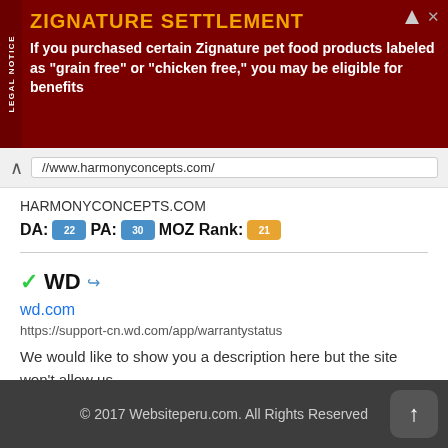[Figure (screenshot): Advertisement banner for Zignature Settlement legal notice with dark red background]
//www.harmonyconcepts.com/
HARMONYCONCEPTS.COM
DA: 22  PA: 30  MOZ Rank: 21
✓WD
wd.com
https://support-cn.wd.com/app/warrantystatus
We would like to show you a description here but the site won't allow us.
DA: 54  PA: 32  MOZ Rank: 8
© 2017 Websiteperu.com. All Rights Reserved